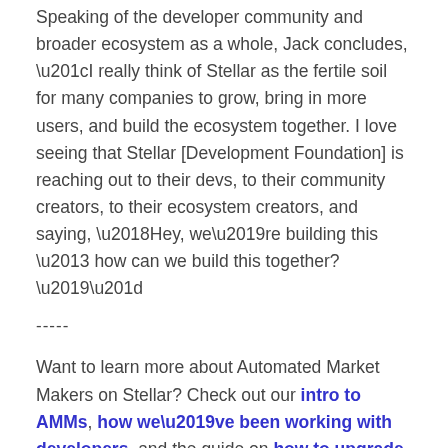Speaking of the developer community and broader ecosystem as a whole, Jack concludes, “I really think of Stellar as the fertile soil for many companies to grow, bring in more users, and build the ecosystem together. I love seeing that Stellar [Development Foundation] is reaching out to their devs, to their community creators, to their ecosystem creators, and saying, ‘Hey, we’re building this – how can we build this together?’”
-----
Want to learn more about Automated Market Makers on Stellar? Check out our intro to AMMs, how we’ve been working with developers, and the guide on how to upgrade to Protocol 18 once the vote occurs.